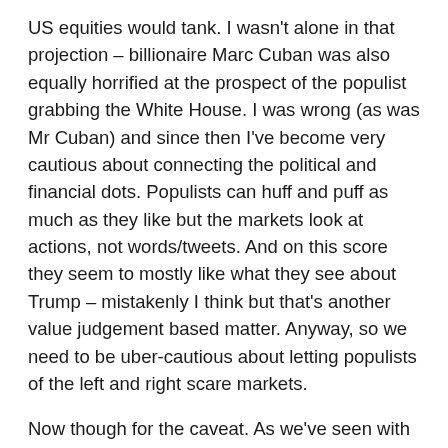US equities would tank. I wasn't alone in that projection – billionaire Marc Cuban was also equally horrified at the prospect of the populist grabbing the White House. I was wrong (as was Mr Cuban) and since then I've become very cautious about connecting the political and financial dots. Populists can huff and puff as much as they like but the markets look at actions, not words/tweets. And on this score they seem to mostly like what they see about Trump – mistakenly I think but that's another value judgement based matter. Anyway, so we need to be uber-cautious about letting populists of the left and right scare markets.
Now though for the caveat. As we've seen with the recent unfortunate case of Turkey, stupid words and even more idiotic actions can cause financial panic. For the record, I am still a long-term bull